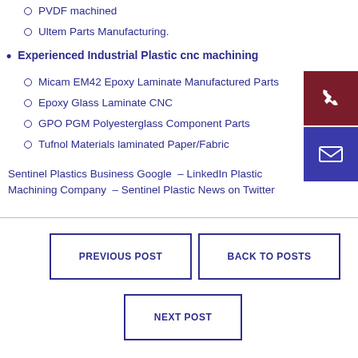PVDF machined
Ultem Parts Manufacturing.
Experienced Industrial Plastic cnc machining
Micam EM42 Epoxy Laminate Manufactured Parts
Epoxy Glass Laminate CNC
GPO PGM Polyesterglass Component Parts
Tufnol Materials laminated Paper/Fabric
[Figure (infographic): Dark red phone icon button and dark blue email icon button in sidebar]
Sentinel Plastics Business Google – LinkedIn Plastic Machining Company – Sentinel Plastic News on Twitter
PREVIOUS POST
BACK TO POSTS
NEXT POST